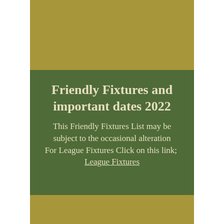[Figure (other): Gold/tan rectangle banner at top of green column]
Friendly Fixtures and important dates 2022
This Friendly Fixtures List may be subject to the occasional alteration
For League Fixtures Click on this link;  League Fixtures
[Figure (other): Gold/tan rectangle banner at bottom of green column]